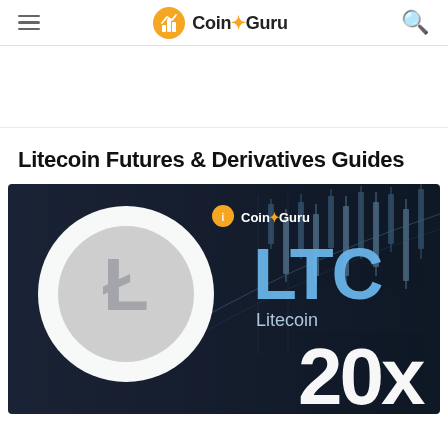Coin Guru
Litecoin Futures & Derivatives Guides
[Figure (illustration): Dark-themed banner image showing Litecoin (LTC) logo on left with large text 'LTC Litecoin' in blue, Coin Guru logo at top center, candlestick chart background on right, and '20x' text at bottom right in white. Background is dark navy/charcoal.]